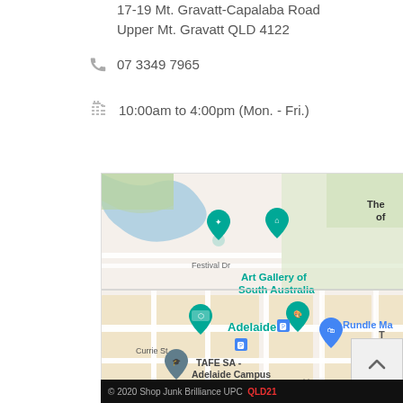17-19 Mt. Gravatt-Capalaba Road
Upper Mt. Gravatt QLD 4122
07 3349 7965
10:00am to 4:00pm (Mon. - Fri.)
[Figure (map): Google Maps screenshot showing Adelaide CBD area with pins for Art Gallery of South Australia, Adelaide, TAFE SA Adelaide Campus, Rundle Mall, Adelaide Town Hall, and other landmarks]
2020 Shop Junk Brilliance UPC QLD21